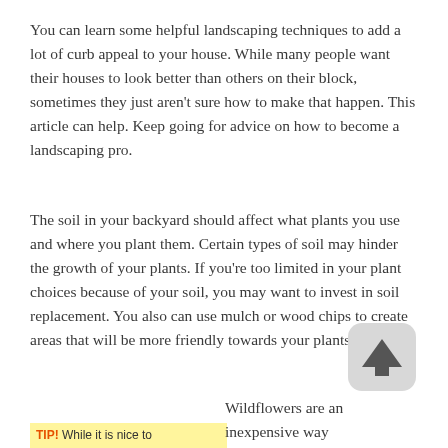You can learn some helpful landscaping techniques to add a lot of curb appeal to your house. While many people want their houses to look better than others on their block, sometimes they just aren't sure how to make that happen. This article can help. Keep going for advice on how to become a landscaping pro.
The soil in your backyard should affect what plants you use and where you plant them. Certain types of soil may hinder the growth of your plants. If you're too limited in your plant choices because of your soil, you may want to invest in soil replacement. You also can use mulch or wood chips to create areas that will be more friendly towards your plants.
[Figure (illustration): Rounded square scroll-to-top button with upward arrow icon in dark gray on light gray background]
TIP! While it is nice to
Wildflowers are an inexpensive way